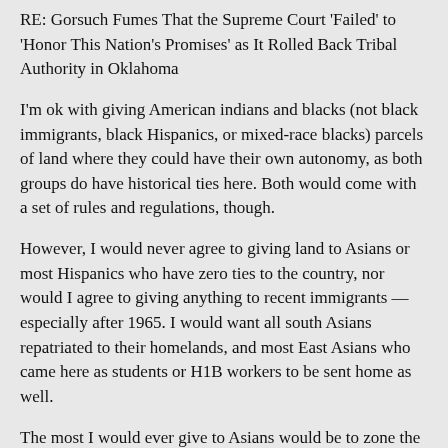RE: Gorsuch Fumes That the Supreme Court 'Failed' to 'Honor This Nation's Promises' as It Rolled Back Tribal Authority in Oklahoma
I'm ok with giving American indians and blacks (not black immigrants, black Hispanics, or mixed-race blacks) parcels of land where they could have their own autonomy, as both groups do have historical ties here. Both would come with a set of rules and regulations, though.
However, I would never agree to giving land to Asians or most Hispanics who have zero ties to the country, nor would I agree to giving anything to recent immigrants — especially after 1965. I would want all south Asians repatriated to their homelands, and most East Asians who came here as students or H1B workers to be sent home as well.
The most I would ever give to Asians would be to zone the historical Chinatowns In San Francisco, Oakland, Los